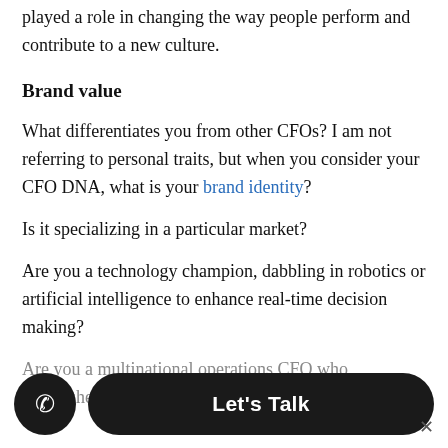played a role in changing the way people perform and contribute to a new culture.
Brand value
What differentiates you from other CFOs? I am not referring to personal traits, but when you consider your CFO DNA, what is your brand identity?
Is it specializing in a particular market?
Are you a technology champion, dabbling in robotics or artificial intelligence to enhance real-time decision making?
Are you a multinational operations CFO who establishes...